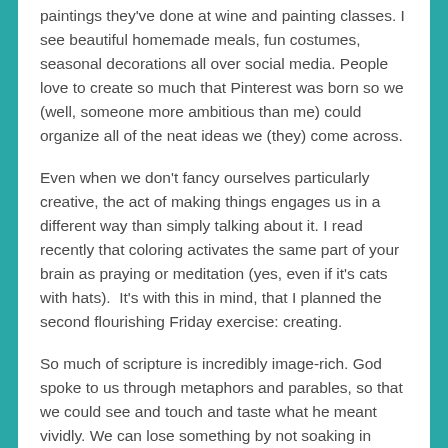paintings they've done at wine and painting classes. I see beautiful homemade meals, fun costumes, seasonal decorations all over social media. People love to create so much that Pinterest was born so we (well, someone more ambitious than me) could organize all of the neat ideas we (they) come across.
Even when we don't fancy ourselves particularly creative, the act of making things engages us in a different way than simply talking about it. I read recently that coloring activates the same part of your brain as praying or meditation (yes, even if it's cats with hats).  It's with this in mind, that I planned the second flourishing Friday exercise: creating.
So much of scripture is incredibly image-rich. God spoke to us through metaphors and parables, so that we could see and touch and taste what he meant vividly. We can lose something by not soaking in those images and allowing our minds to wander through them. Those pictures help us